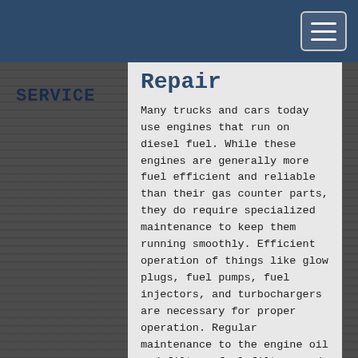SERVICE
Repair
Many trucks and cars today use engines that run on diesel fuel. While these engines are generally more fuel efficient and reliable than their gas counter parts, they do require specialized maintenance to keep them running smoothly. Efficient operation of things like glow plugs, fuel pumps, fuel injectors, and turbochargers are necessary for proper operation. Regular maintenance to the engine oil and filter, fuel filter, and water separator are critical in keeping your diesel operating as smoothly as the day it was built. Century Tire & Auto